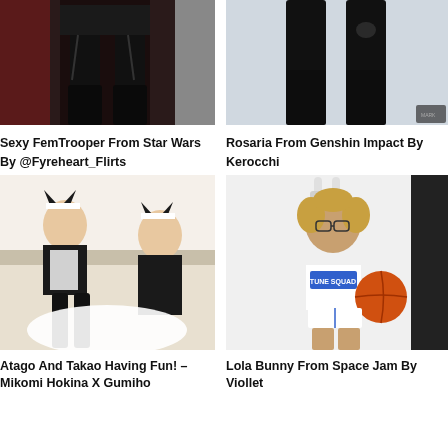[Figure (photo): Person in black lingerie, thigh-high boots, garter belt]
[Figure (photo): Person in black thigh-high boots, lower body only]
Sexy FemTrooper From Star Wars By @Fyreheart_Flirts
Rosaria From Genshin Impact By Kerocchi
[Figure (photo): Two people in maid and cat-ear costumes on a bed]
[Figure (photo): Person in Space Jam Tune Squad uniform holding basketball, wearing bunny ears]
Atago And Takao Having Fun! – Mikomi Hokina X Gumiho
Lola Bunny From Space Jam By Viollet